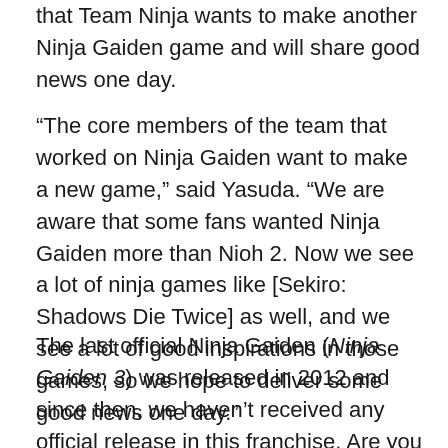that Team Ninja wants to make another Ninja Gaiden game and will share good news one day.
“The core members of the team that worked on Ninja Gaiden want to make a new game,” said Yasuda. “We are aware that some fans wanted Ninja Gaiden more than Nioh 2. Now we see a lot of ninja games like [Sekiro: Shadows Die Twice] as well, and we see a lot of good inspirations in those games, so we hope to deliver some good news one day.”
The last official Ninja Gaiden (Ninja Gaiden 3) was released in 2012 and since then, we haven’t received any official release in this franchise. Are you excited about a new Ninja Gaiden game? Let us know in the comments!